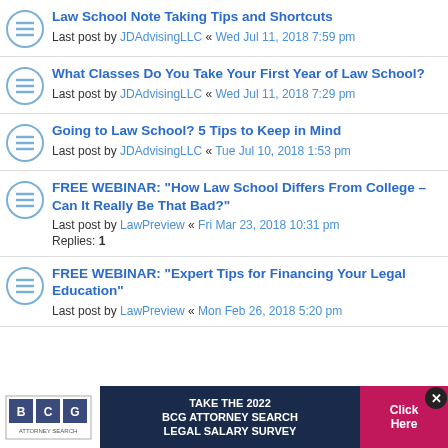Law School Note Taking Tips and Shortcuts
Last post by JDAdvisingLLC « Wed Jul 11, 2018 7:59 pm
What Classes Do You Take Your First Year of Law School?
Last post by JDAdvisingLLC « Wed Jul 11, 2018 7:29 pm
Going to Law School? 5 Tips to Keep in Mind
Last post by JDAdvisingLLC « Tue Jul 10, 2018 1:53 pm
FREE WEBINAR: "How Law School Differs From College – Can It Really Be That Bad?"
Last post by LawPreview « Fri Mar 23, 2018 10:31 pm
Replies: 1
FREE WEBINAR: "Expert Tips for Financing Your Legal Education"
Last post by LawPreview « Mon Feb 26, 2018 5:20 pm
[Figure (infographic): BCG Attorney Search ad banner: TAKE THE 2022 BCG ATTORNEY SEARCH LEGAL SALARY SURVEY with Click Here button and close X button]